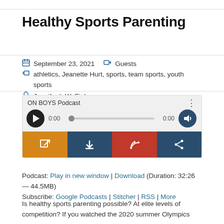Healthy Sports Parenting
September 23, 2021   Guests   athletics, Jeanette Hurt, sports, team sports, youth sports   Jennifer L.W. Fink
[Figure (other): Audio podcast player widget for ON BOYS Podcast showing 0:00 playback time with play button, progress bar, volume control, and action buttons (open in new window, download, RSS, share)]
Podcast: Play in new window | Download (Duration: 32:26 — 44.5MB)
Subscribe: Google Podcasts | Stitcher | RSS | More
Is healthy sports parenting possible? At elite levels of competition? If you watched the 2020 summer Olympics